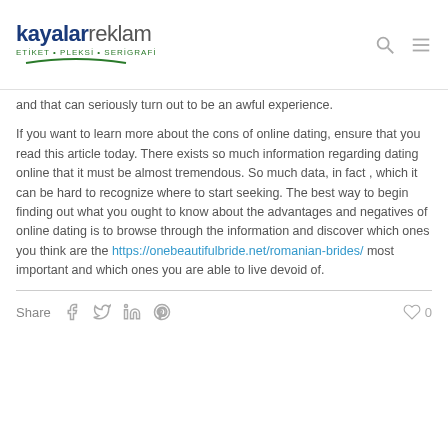kayalar reklam — ETIKET • PLEKSİ • SERİGRAFİ
and that can seriously turn out to be an awful experience.
If you want to learn more about the cons of online dating, ensure that you read this article today. There exists so much information regarding dating online that it must be almost tremendous. So much data, in fact , which it can be hard to recognize where to start seeking. The best way to begin finding out what you ought to know about the advantages and negatives of online dating is to browse through the information and discover which ones you think are the https://onebeautifulbride.net/romanian-brides/ most important and which ones you are able to live devoid of.
Share  0